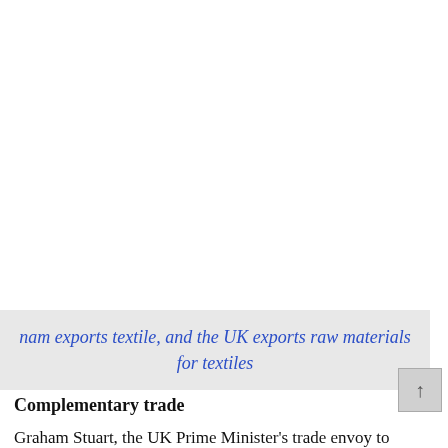nam exports textile, and the UK exports raw materials for textiles
Complementary trade
Graham Stuart, the UK Prime Minister's trade envoy to